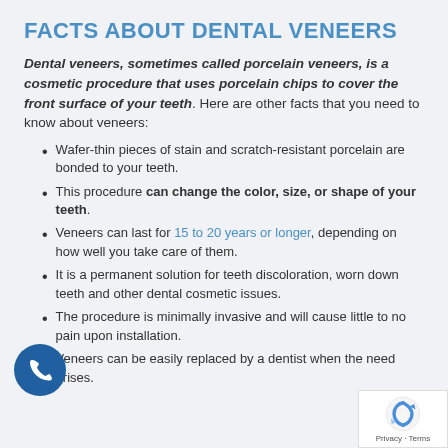FACTS ABOUT DENTAL VENEERS
Dental veneers, sometimes called porcelain veneers, is a cosmetic procedure that uses porcelain chips to cover the front surface of your teeth. Here are other facts that you need to know about veneers:
Wafer-thin pieces of stain and scratch-resistant porcelain are bonded to your teeth.
This procedure can change the color, size, or shape of your teeth.
Veneers can last for 15 to 20 years or longer, depending on how well you take care of them.
It is a permanent solution for teeth discoloration, worn down teeth and other dental cosmetic issues.
The procedure is minimally invasive and will cause little to no pain upon installation.
Veneers can be easily replaced by a dentist when the need arises.